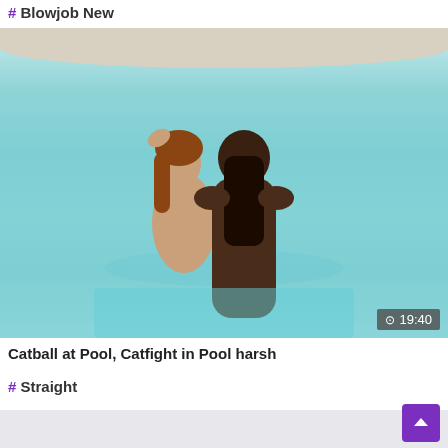# Blowjob New
[Figure (photo): Two people standing in a swimming pool, viewed from behind, with pool edge visible at top. Duration badge showing 19:40 in bottom right corner.]
Catball at Pool, Catfight in Pool harsh
# Straight